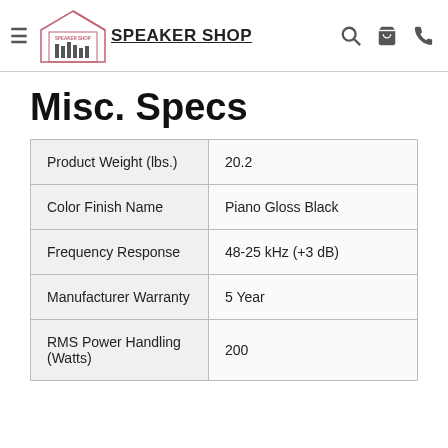SPEAKER SHOP
Misc. Specs
|  |  |
| --- | --- |
| Product Weight (lbs.) | 20.2 |
| Color Finish Name | Piano Gloss Black |
| Frequency Response | 48-25 kHz (+3 dB) |
| Manufacturer Warranty | 5 Year |
| RMS Power Handling (Watts) | 200 |